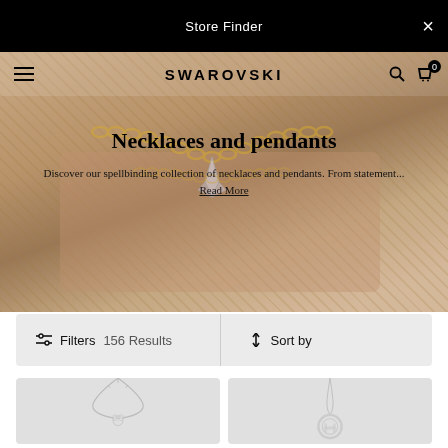Store Finder
SWAROVSKI
Necklaces and pendants
Discover our spellbinding collection of necklaces and pendants. From statement... Read More
Filters  156 Results    Sort by
[Figure (photo): Two silver crystal necklaces from Swarovski on gray background]
[Figure (photo): Silver ring pendant necklace from Swarovski on gray background]